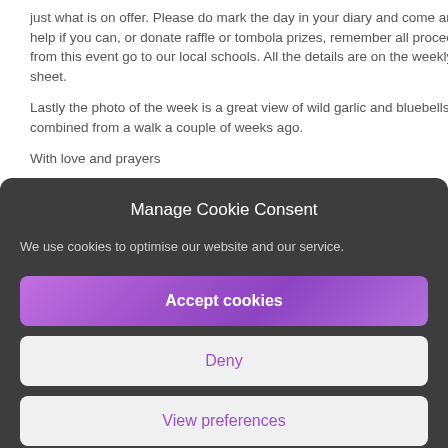just what is on offer. Please do mark the day in your diary and come and help if you can, or donate raffle or tombola prizes, remember all proceeds from this event go to our local schools. All the details are on the weekly sheet.
Lastly the photo of the week is a great view of wild garlic and bluebells combined from a walk a couple of weeks ago.
With love and prayers
Manage Cookie Consent
We use cookies to optimise our website and our service.
Accept cookies
Deny
View preferences